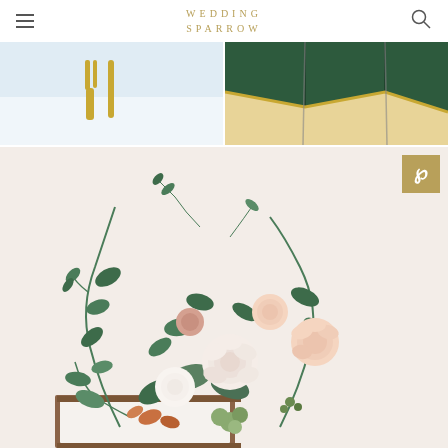WEDDING SPARROW
[Figure (photo): Top left photo: close-up of gold/yellow cutlery (fork and knife) on a light blue table setting]
[Figure (photo): Top right photo: dark green tent or fabric with gold/yellow trim detail]
[Figure (photo): Main large photo: wedding floral centerpiece arrangement with white and blush roses, green leaves and foliage, in a wooden box frame on a light background. Gold Pinterest share button in top right corner.]